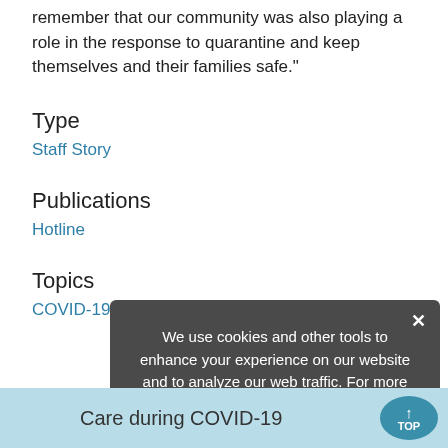remember that our community was also playing a role in the response to quarantine and keep themselves and their families safe."
Type
Staff Story
Publications
Hotline
Topics
COVID-19 (Coronavirus), Community Health
[Figure (screenshot): Cookie consent popup with dark background saying: We use cookies and other tools to enhance your experience on our website and to analyze our web traffic. For more information about these cookies and the data collected, please refer to our Privacy Policy.]
Care during COVID-19